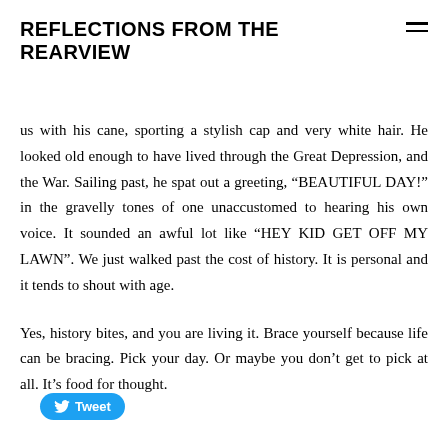REFLECTIONS FROM THE REARVIEW
us with his cane, sporting a stylish cap and very white hair. He looked old enough to have lived through the Great Depression, and the War. Sailing past, he spat out a greeting, “BEAUTIFUL DAY!” in the gravelly tones of one unaccustomed to hearing his own voice. It sounded an awful lot like “HEY KID GET OFF MY LAWN”. We just walked past the cost of history. It is personal and it tends to shout with age.
Yes, history bites, and you are living it. Brace yourself because life can be bracing. Pick your day. Or maybe you don’t get to pick at all. It’s food for thought.